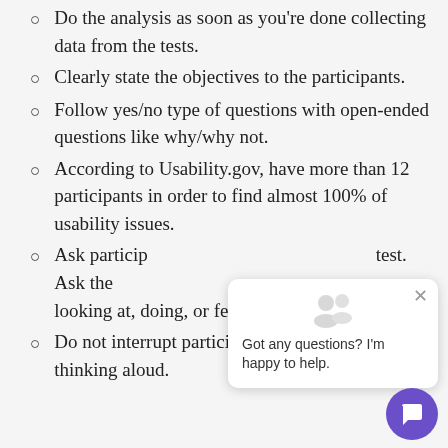Do the analysis as soon as you're done collecting data from the tests.
Clearly state the objectives to the participants.
Follow yes/no type of questions with open-ended questions like why/why not.
According to Usability.gov, have more than 12 participants in order to find almost 100% of usability issues.
Ask participants to think aloud during the test. Ask them what they are looking at, doing, or feeling.
Do not interrupt participants when they are thinking aloud.